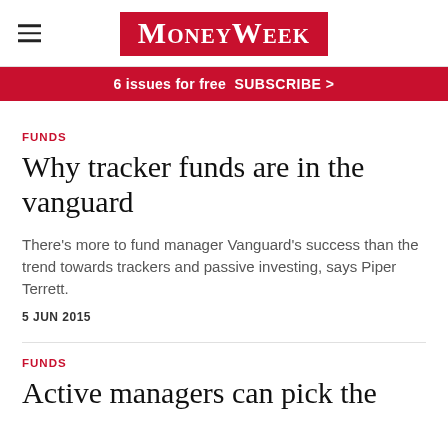MoneyWeek
6 issues for free  SUBSCRIBE >
FUNDS
Why tracker funds are in the vanguard
There's more to fund manager Vanguard's success than the trend towards trackers and passive investing, says Piper Terrett.
5 JUN 2015
FUNDS
Active managers can pick the